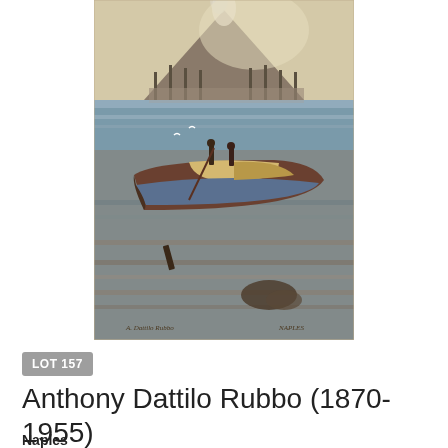[Figure (photo): Oil painting depicting a harbor scene in Naples. A large wooden boat is in the foreground on calm water, with two figures on it. In the background are masts of ships, a cityscape, and a volcano (Mount Vesuvius) with smoke rising. The painting is signed at the bottom left 'A. Dattilo Rubbo' and 'NAPLES' at the bottom right.]
LOT 157
Anthony Dattilo Rubbo (1870-1955)
Naples